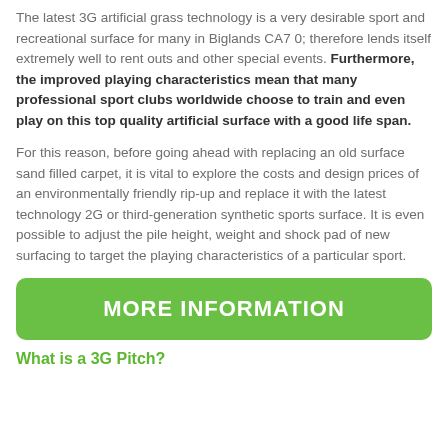The latest 3G artificial grass technology is a very desirable sport and recreational surface for many in Biglands CA7 0; therefore lends itself extremely well to rent outs and other special events. Furthermore, the improved playing characteristics mean that many professional sport clubs worldwide choose to train and even play on this top quality artificial surface with a good life span.
For this reason, before going ahead with replacing an old surface sand filled carpet, it is vital to explore the costs and design prices of an environmentally friendly rip-up and replace it with the latest technology 2G or third-generation synthetic sports surface. It is even possible to adjust the pile height, weight and shock pad of new surfacing to target the playing characteristics of a particular sport.
[Figure (other): Green rounded rectangle button with white bold text reading MORE INFORMATION]
What is a 3G Pitch?